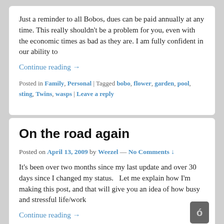Just a reminder to all Bobos, dues can be paid annually at any time. This really shouldn't be a problem for you, even with the economic times as bad as they are. I am fully confident in our ability to
Continue reading →
Posted in Family, Personal | Tagged bobo, flower, garden, pool, sting, Twins, wasps | Leave a reply
On the road again
Posted on April 13, 2009 by Weezel — No Comments ↓
It's been over two months since my last update and over 30 days since I changed my status.   Let me explain how I'm making this post, and that will give you an idea of how busy and stressful life/work
Continue reading →